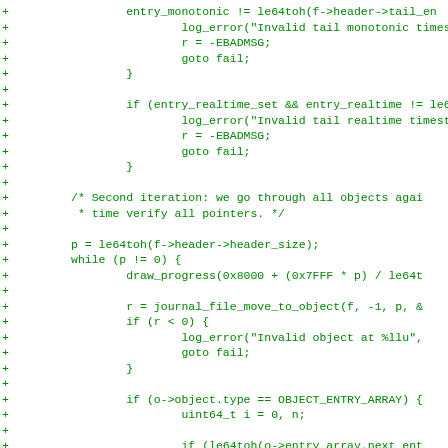[Figure (other): Code diff snippet showing C source code with + markers, green text on white background. The code is part of a journal file verification function showing monotonic and realtime timestamp checks, and a second iteration through objects using draw_progress, journal_file_move_to_object, and entry array pointer verification.]